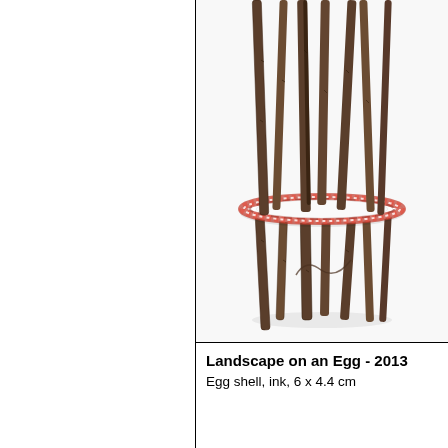[Figure (photo): An artistic sculpture featuring multiple birch or similar tree branches/sticks arranged vertically, passing through a decorative red and white patterned plate or dish. The branches extend both above and below the plate, creating a table-like or forest-like structure on a white background.]
Landscape on an Egg - 2013
Egg shell, ink, 6 x 4.4 cm